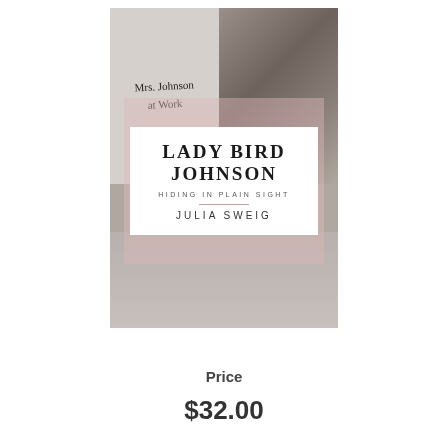[Figure (illustration): Book cover of 'Lady Bird Johnson: Hiding in Plain Sight' by Julia Sweig. Black and white photo background with handwritten text 'Mrs. Johnson at Work' on the left side, a silhouette photo of a woman at a desk on the upper right. A pink semi-transparent overlay box contains a white rectangle with the book title 'LADY BIRD JOHNSON' in large serif bold uppercase, subtitle 'HIDING IN PLAIN SIGHT' in small spaced caps, a decorative line, and author name 'JULIA SWEIG' in spaced uppercase.]
Price
$32.00